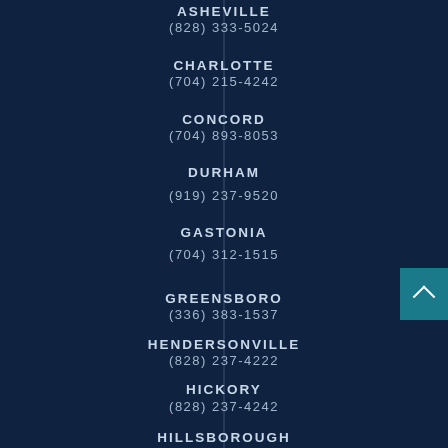ASHEVILLE
(828) 333-5024
CHARLOTTE
(704) 215-4242
CONCORD
(704) 893-8053
DURHAM
(919) 237-9520
GASTONIA
(704) 312-1515
GREENSBORO
(336) 383-1537
HENDERSONVILLE
(828) 237-4222
HICKORY
(828) 237-4242
HILLSBOROUGH